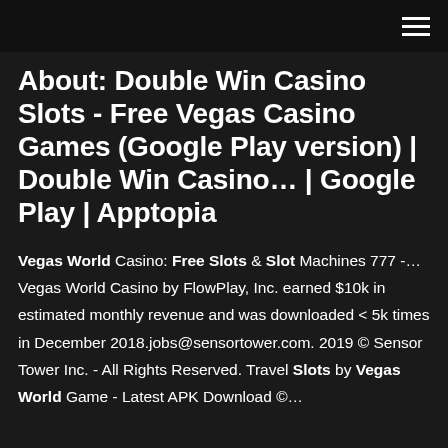About: Double Win Casino Slots - Free Vegas Casino Games (Google Play version) | Double Win Casino… | Google Play | Apptopia
Vegas World Casino: Free Slots & Slot Machines 777 -… Vegas World Casino by FlowPlay, Inc. earned $10k in estimated monthly revenue and was downloaded < 5k times in December 2018.jobs@sensortower.com. 2019 © Sensor Tower Inc. - All Rights Reserved. Travel Slots by Vegas World Game - Latest APK Download ©…